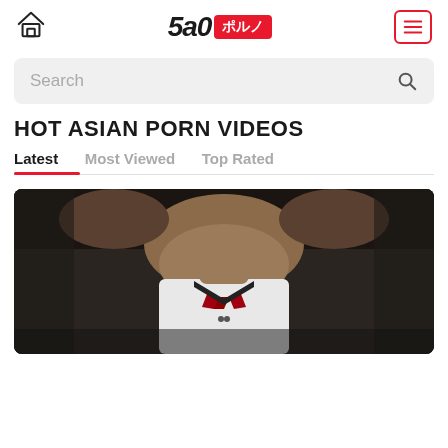SAO ポルノ — home icon and menu icon
Search
HOT ASIAN PORN VIDEOS
Latest  Most Viewed  Top Rated
[Figure (photo): Video thumbnail showing a person in a white shirt with a red ribbon/bow tie, taken from above angle, partial view]